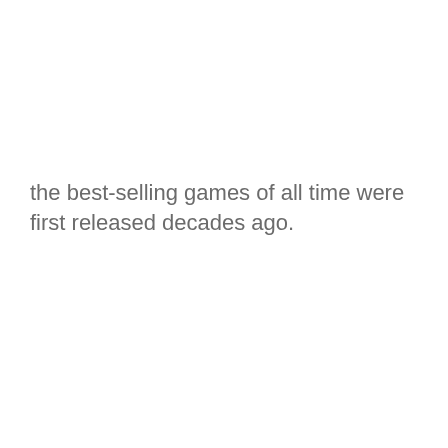the best-selling games of all time were first released decades ago.